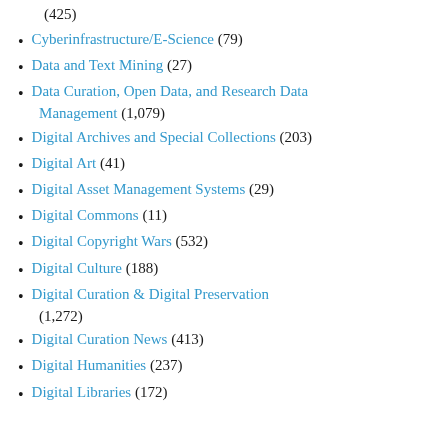(425)
Cyberinfrastructure/E-Science (79)
Data and Text Mining (27)
Data Curation, Open Data, and Research Data Management (1,079)
Digital Archives and Special Collections (203)
Digital Art (41)
Digital Asset Management Systems (29)
Digital Commons (11)
Digital Copyright Wars (532)
Digital Culture (188)
Digital Curation & Digital Preservation (1,272)
Digital Curation News (413)
Digital Humanities (237)
Digital Libraries (172)